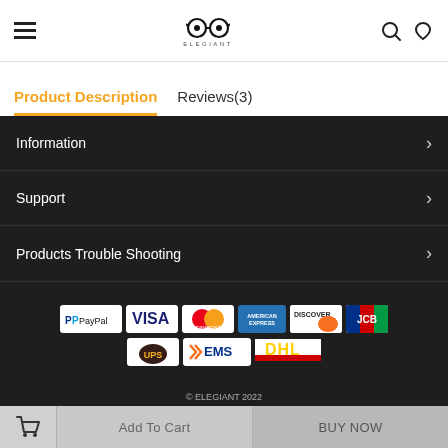[Figure (logo): ELEGIANT brand logo with stylized glasses icon and brand name]
Product Description
Reviews(3)
Information
Support
Products Trouble Shooting
[Figure (logo): Payment and shipping logos: PayPal, VISA, Mastercard, American Express, Discover, JCB, UPS, EMS, DHL]
© ELEGIANT 2022
Add To Cart
BUY NOW